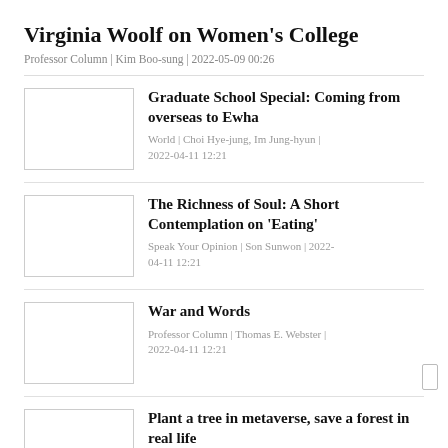Virginia Woolf on Women's College
Professor Column | Kim Boo-sung | 2022-05-09 00:26
Graduate School Special: Coming from overseas to Ewha
World | Choi Hye-jung, Im Jung-hyun | 2022-04-11 12:21
The Richness of Soul: A Short Contemplation on 'Eating'
Speak Your Opinion | Son Sunwon | 2022-04-11 12:21
War and Words
Professor Column | Thomas E. Webster | 2022-04-11 12:21
Plant a tree in metaverse, save a forest in real life